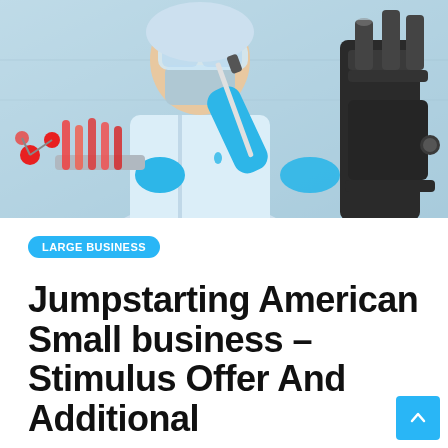[Figure (photo): Laboratory scientist in mask, gloves and lab coat using a pipette near test tubes and a microscope, scientific/medical lab setting]
LARGE BUSINESS
Jumpstarting American Small business – Stimulus Offer And Additional